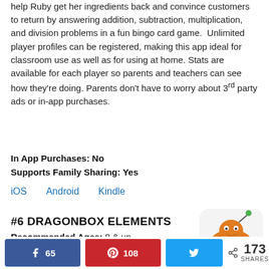help Ruby get her ingredients back and convince customers to return by answering addition, subtraction, multiplication, and division problems in a fun bingo card game.  Unlimited player profiles can be registered, making this app ideal for classroom use as well as for using at home. Stats are available for each player so parents and teachers can see how they're doing. Parents don't have to worry about 3rd party ads or in-app purchases.
In App Purchases: No
Supports Family Sharing: Yes
iOS   Android   Kindle
#6 DRAGONBOX ELEMENTS
Recommended Ages: 8 & up
[Figure (illustration): App icon for DragonBox Elements showing an orange dragon/turtle creature with spots against a white rounded rectangle background]